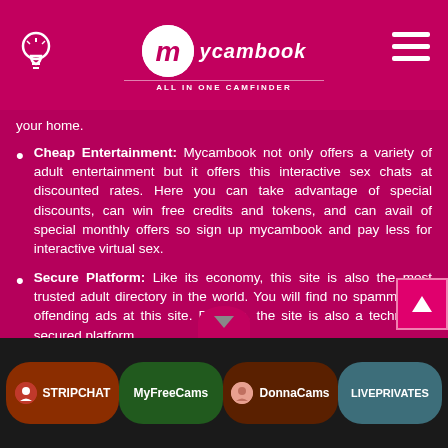mycambook - ALL IN ONE CAMFINDER
your home.
Cheap Entertainment: Mycambook not only offers a variety of adult entertainment but it offers this interactive sex chats at discounted rates. Here you can take advantage of special discounts, can win free credits and tokens, and can avail of special monthly offers so sign up mycambook and pay less for interactive virtual sex.
Secure Platform: Like its economy, this site is also the most trusted adult directory in the world. You will find no spammy and offending ads at this site. Besides, the site is also a technically secured platform.
Through mycambook.com, you can also sign up as a webcam model on varied webcamming sites and earn thousands of dollars a week. All of the requirements for becoming a model are elaborated in their terms of use policy.
Wrapping it Up
STRIPCHAT | MyFreeCams | DonnaCams | LIVEPRIVATES